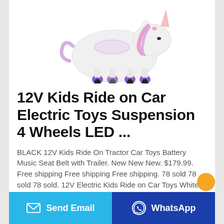[Figure (photo): A white unicorn ride-on toy with purple hooves, pink mane details, and small wheels underneath, photographed against a white background.]
12V Kids Ride on Car Electric Toys Suspension 4 Wheels LED ...
BLACK 12V Kids Ride On Tractor Car Toys Battery Music Seat Belt with Trailer. New New New. $179.99. Free shipping Free shipping Free shipping. 78 sold 78 sold 78 sold. 12V Electric Kids Ride on Car Toys White ,Music ,Light ,Safe Remote Control. New New New. $249.99. Free shipping Free shipping Free shipping.